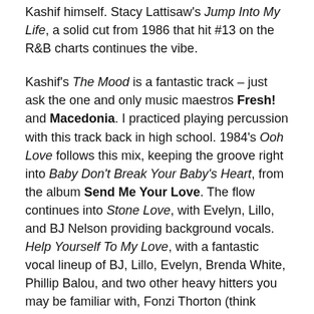Kashif himself. Stacy Lattisaw's Jump Into My Life, a solid cut from 1986 that hit #13 on the R&B charts continues the vibe.
Kashif's The Mood is a fantastic track – just ask the one and only music maestros Fresh! and Macedonia. I practiced playing percussion with this track back in high school. 1984's Ooh Love follows this mix, keeping the groove right into Baby Don't Break Your Baby's Heart, from the album Send Me Your Love. The flow continues into Stone Love, with Evelyn, Lillo, and BJ Nelson providing background vocals. Help Yourself To My Love, with a fantastic vocal lineup of BJ, Lillo, Evelyn, Brenda White, Phillip Balou, and two other heavy hitters you may be familiar with, Fonzi Thorton (think Luther Vandross), and Tawatha Agee (from Mtume).